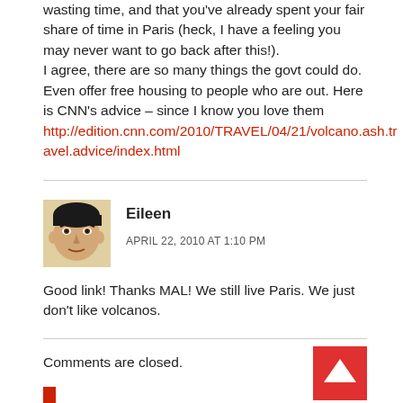wasting time, and that you've already spent your fair share of time in Paris (heck, I have a feeling you may never want to go back after this!). I agree, there are so many things the govt could do. Even offer free housing to people who are out. Here is CNN's advice – since I know you love them http://edition.cnn.com/2010/TRAVEL/04/21/volcano.ash.travel.advice/index.html
Eileen
APRIL 22, 2010 AT 1:10 PM
Good link! Thanks MAL! We still live Paris. We just don't like volcanos.
Comments are closed.